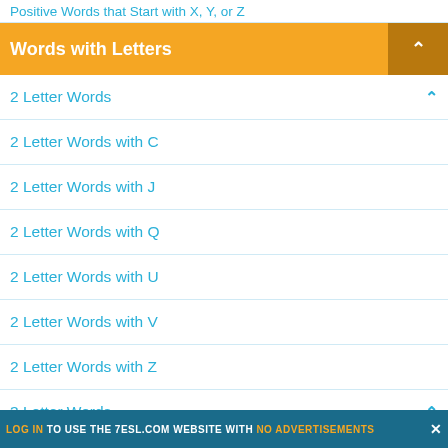Positive Words that Start with X, Y, or Z
Words with Letters
2 Letter Words
2 Letter Words with C
2 Letter Words with J
2 Letter Words with Q
2 Letter Words with U
2 Letter Words with V
2 Letter Words with Z
3 Letter Words
3 Letter Words With J
LOG IN TO USE THE 7ESL.COM WEBSITE WITH NO ADVERTISEMENTS